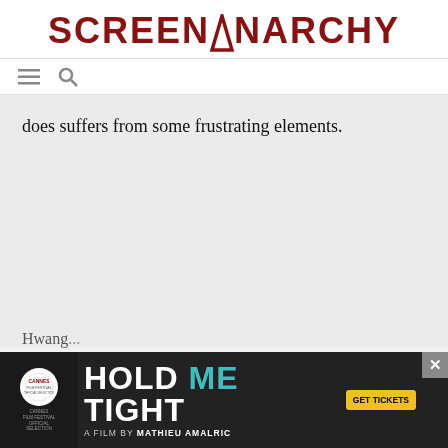SCREENANARCHY
does suffers from some frustrating elements.
[Figure (screenshot): Advertisement banner for 'Hold Me Tight', a film by Mathieu Amalric, official selection at Cannes Film Festival. Dark background with large white text 'HOLD ME TIGHT' and teal 'ME', with a 'GET TICKETS' yellow button. Close button (X) in top right.]
Hwang...